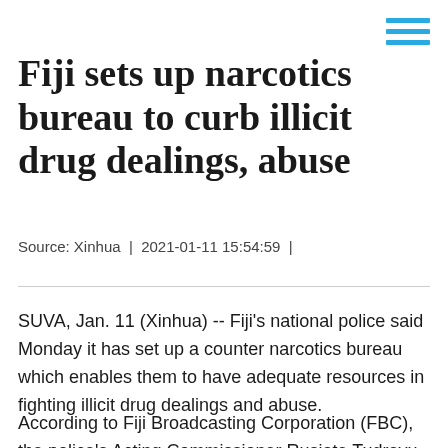Fiji sets up narcotics bureau to curb illicit drug dealings, abuse
Source: Xinhua | 2021-01-11 15:54:59 |
SUVA, Jan. 11 (Xinhua) -- Fiji's national police said Monday it has set up a counter narcotics bureau which enables them to have adequate resources in fighting illicit drug dealings and abuse.
According to Fiji Broadcasting Corporation (FBC), the police's Acting Commissioner Rusiate Tudravu said the